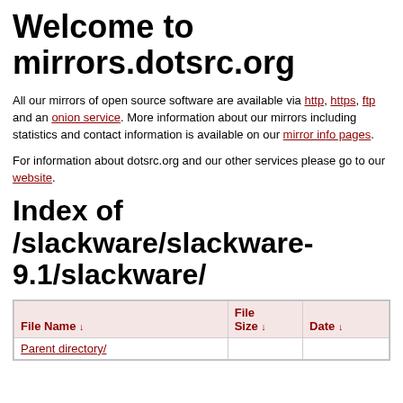Welcome to mirrors.dotsrc.org
All our mirrors of open source software are available via http, https, ftp and an onion service. More information about our mirrors including statistics and contact information is available on our mirror info pages.
For information about dotsrc.org and our other services please go to our website.
Index of /slackware/slackware-9.1/slackware/
| File Name ↓ | File Size ↓ | Date ↓ |
| --- | --- | --- |
| Parent directory/ |  |  |